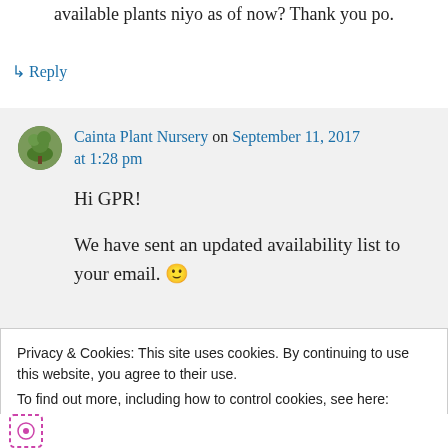available plants niyo as of now? Thank you po.
↳ Reply
Cainta Plant Nursery on September 11, 2017 at 1:28 pm
Hi GPR!

We have sent an updated availability list to your email. 🙂
Privacy & Cookies: This site uses cookies. By continuing to use this website, you agree to their use.
To find out more, including how to control cookies, see here: Cookie Policy
Close and accept